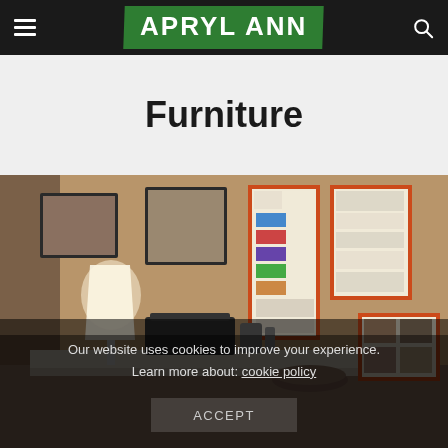APRYL ANN
Furniture
[Figure (photo): Interior room photo showing a desk with a lamp, printer, bulletin boards with orange frames on the wall, and papers/items on the desk surface]
Our website uses cookies to improve your experience. Learn more about: cookie policy
ACCEPT